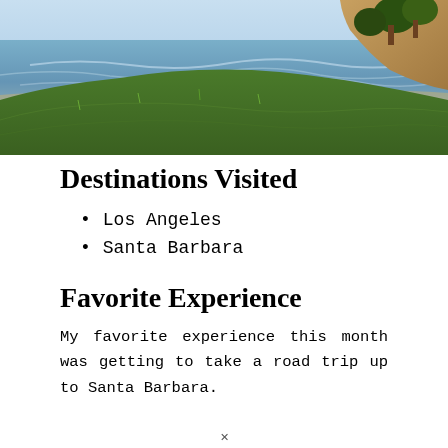[Figure (photo): Coastal landscape showing green grassy cliffside in the foreground, ocean with gentle waves in the background, and a wooded bluff on the right side under a clear sky.]
Destinations Visited
Los Angeles
Santa Barbara
Favorite Experience
My favorite experience this month was getting to take a road trip up to Santa Barbara.